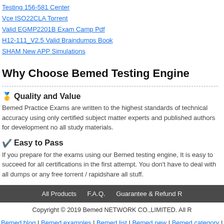Testing 156-581 Center
Vce ISO22CLA Torrent
Valid EGMP2201B Exam Camp Pdf
H12-111_V2.5 Valid Braindumps Book
SHAM New APP Simulations
Why Choose Bemed Testing Engine
🥇 Quality and Value
Bemed Practice Exams are written to the highest standards of technical accuracy using only certified subject matter experts and published authors for development no all study materials.
✔ Easy to Pass
If you prepare for the exams using our Bemed testing engine, It is easy to succeed for all certifications in the first attempt. You don't have to deal with all dumps or any free torrent / rapidshare all stuff.
All Products   F.A.Q.   Guarantee & Refund R
Copyright © 2019 Bemed NETWORK CO.,LIMITED. All R
Bemed blog | Bemed examples | Bemed list | Bemed new | Bemed category | sitemap